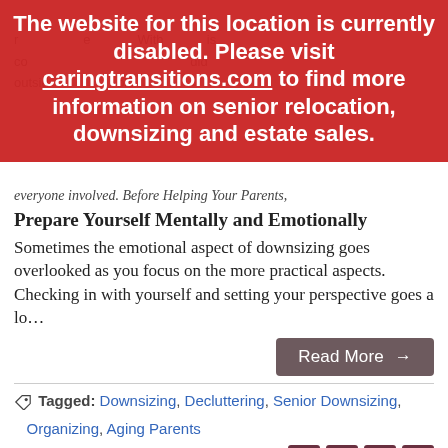[Figure (infographic): Red overlay banner with white text: 'The website for this location is currently disabled. Please visit caringtransitions.com to find more information on senior relocation, downsizing and estate sales.']
everyone involved. Before Helping Your Parents,
Prepare Yourself Mentally and Emotionally
Sometimes the emotional aspect of downsizing goes overlooked as you focus on the more practical aspects. Checking in with yourself and setting your perspective goes a lo…
Read More →
Tagged: Downsizing, Decluttering, Senior Downsizing, Organizing, Aging Parents
Tips for Organizing Your Home Office